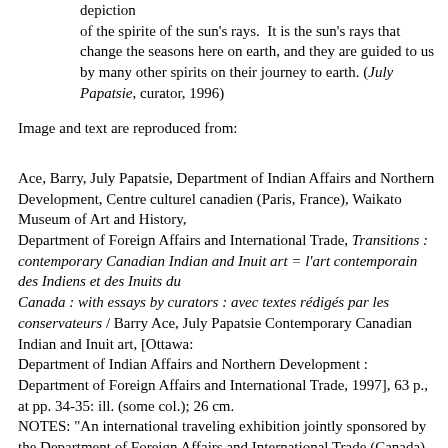depiction
of the spirite of the sun's rays.  It is the sun's rays that change the seasons here on earth, and they are guided to us by many other spirits on their journey to earth. (July Papatsie, curator, 1996)
Image and text are reproduced from:
Ace, Barry, July Papatsie, Department of Indian Affairs and Northern Development, Centre culturel canadien (Paris, France), Waikato Museum of Art and History,
Department of Foreign Affairs and International Trade, Transitions : contemporary Canadian Indian and Inuit art = l'art contemporain des Indiens et des Inuits du
Canada : with essays by curators : avec textes rédigés par les conservateurs / Barry Ace, July Papatsie Contemporary Canadian Indian and Inuit art, [Ottawa:
Department of Indian Affairs and Northern Development :
Department of Foreign Affairs and International Trade, 1997], 63 p., at pp. 34-35: ill. (some col.); 26 cm.
NOTES: "An international traveling exhibition jointly sponsored by the Department of Foreign Affairs and International Trade (Canada) and the Department of
Indian Affairs and Northern Development (Canada), 1997" - p. facing T.p. "Itinerary: Canadian Cultural Centre, Canadian Embassy, Paris, France, January 24-February